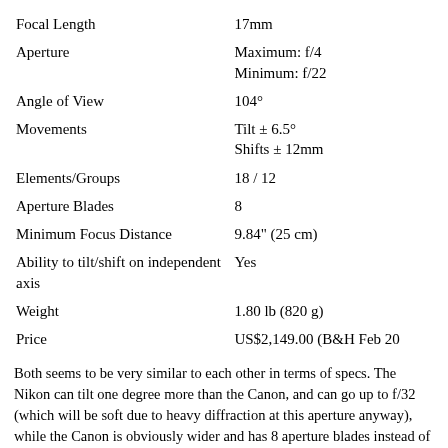| Focal Length | 17mm |
| Aperture | Maximum: f/4
Minimum: f/22 |
| Angle of View | 104° |
| Movements | Tilt ± 6.5°
Shifts ± 12mm |
| Elements/Groups | 18 / 12 |
| Aperture Blades | 8 |
| Minimum Focus Distance | 9.84" (25 cm) |
| Ability to tilt/shift on independent axis | Yes |
| Weight | 1.80 lb (820 g) |
| Price | US$2,149.00 (B&H Feb 20 |
Both seems to be very similar to each other in terms of specs. The Nikon can tilt one degree more than the Canon, and can go up to f/32 (which will be soft due to heavy diffraction at this aperture anyway), while the Canon is obviously wider and has 8 aperture blades instead of 9 like the Nikon. Its 8-bladed aperture produces distinct 8-point starbursts, while the Nikon 9-bladed aperture will produce 18-point starbursts, which are diffused in comparison. This difference is described in my previous comparison here and the comparison further down the article.